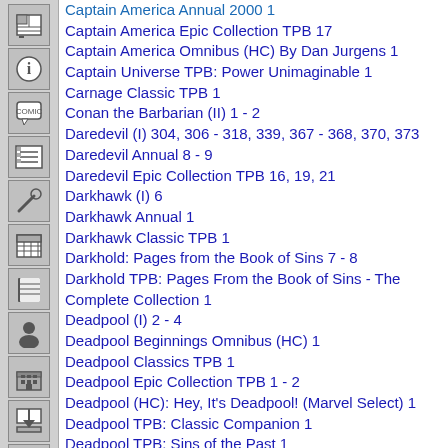Captain America Annual 2000 1
Captain America Epic Collection TPB 17
Captain America Omnibus (HC) By Dan Jurgens 1
Captain Universe TPB: Power Unimaginable 1
Carnage Classic TPB 1
Conan the Barbarian (II) 1 - 2
Daredevil (I) 304, 306 - 318, 339, 367 - 368, 370, 373
Daredevil Annual 8 - 9
Daredevil Epic Collection TPB 16, 19, 21
Darkhawk (I) 6
Darkhawk Annual 1
Darkhawk Classic TPB 1
Darkhold: Pages from the Book of Sins 7 - 8
Darkhold TPB: Pages From the Book of Sins - The Complete Collection 1
Deadpool (I) 2 - 4
Deadpool Beginnings Omnibus (HC) 1
Deadpool Classics TPB 1
Deadpool Epic Collection TPB 1 - 2
Deadpool (HC): Hey, It's Deadpool! (Marvel Select) 1
Deadpool TPB: Classic Companion 1
Deadpool TPB: Sins of the Past 1
Deadpool and X-Force Omnibus (HC) 1
Decades TPB: Marvel in the '90s - The Mutant X-Plosion 1
Doctor Strange Epic Collection TPB 13
Doctor Strange, Sorcerer Supreme 83
Doctor Strange, Sorcerer Supreme Omnibus (HC) 3
Dream Team (Malibu Comics) 1